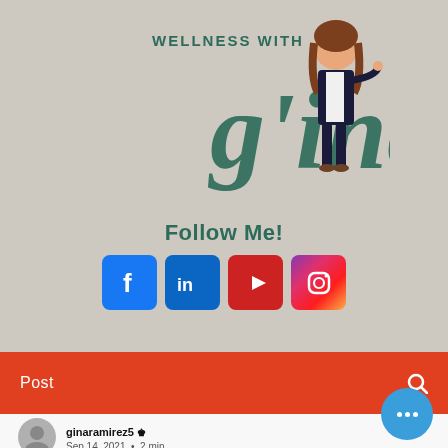[Figure (logo): Wellness with Gina logo — decorative script text 'Wellness with Gina' in teal/dark green with a cartoon woman character]
Follow Me!
[Figure (infographic): Row of four social media icons: Facebook (blue), LinkedIn (blue), YouTube (red), Instagram (pink gradient)]
[Figure (infographic): Hamburger menu icon (three horizontal lines)]
Post
[Figure (illustration): Gray circular avatar placeholder icon]
ginaramirez5 👑
Sep 14, 2021  •  2 min
[Figure (infographic): Blue circular chat button with three white dots]